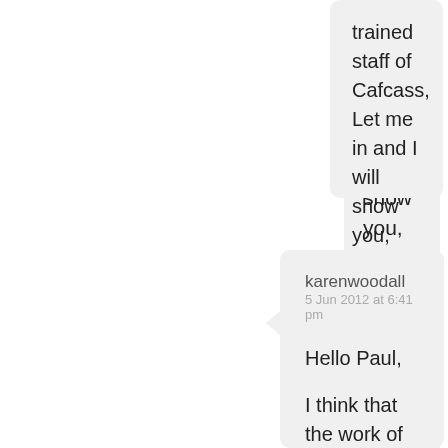trained staff of Cafcass, Let me in and I will show you, with the help of caring common sense people like Karen Woodhall, etc. Cafcass the old wine skin, and you don't ever put new wine in one!
Like
karenwoodall
5 Jun 2012 at 6:41 pm
Hello Paul,

I think that the work of changing the system is a multi stranded